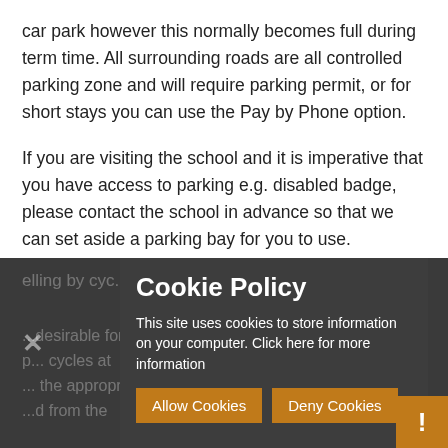car park however this normally becomes full during term time. All surrounding roads are all controlled parking zone and will require parking permit, or for short stays you can use the Pay by Phone option.
If you are visiting the school and it is imperative that you have access to parking e.g. disabled badge, please contact the school in advance so that we can set aside a parking bay for you to use.
[Figure (screenshot): Cookie policy popup overlay on dark background. Title: 'Cookie Policy'. Body text: 'This site uses cookies to store information on your computer. Click here for more information'. Two orange buttons: 'Allow Cookies' and 'Deny Cookies'. A close X button on the left. An orange warning/exclamation icon at bottom right.]